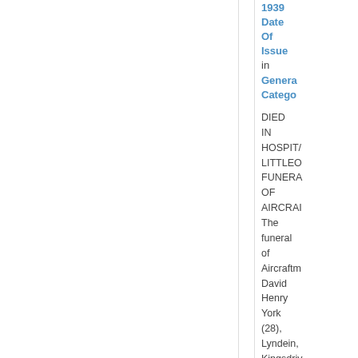1939 Date Of Issue in General Category
DIED IN HOSPITAL LITTLEOVER FUNERAL OF AIRCRAFTMAN The funeral of Aircraftman David Henry York (28), Lyndein, Kingsdriv Littleover who died on...
see more